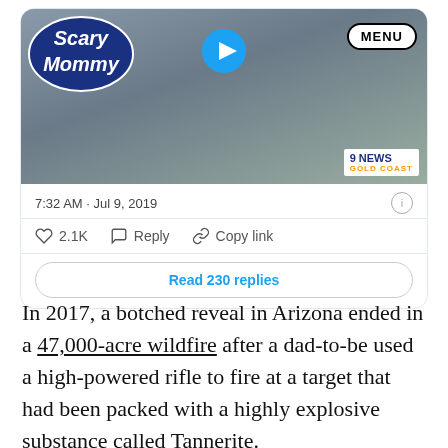[Figure (screenshot): Tweet card screenshot showing Scary Mommy logo, 9News Gold Coast badge, timestamp 7:32 AM · Jul 9, 2019, 2.1K likes, Reply, Copy link actions, and Read 230 replies button]
In 2017, a botched reveal in Arizona ended in a 47,000-acre wildfire after a dad-to-be used a high-powered rifle to fire at a target that had been packed with a highly explosive substance called Tannerite.